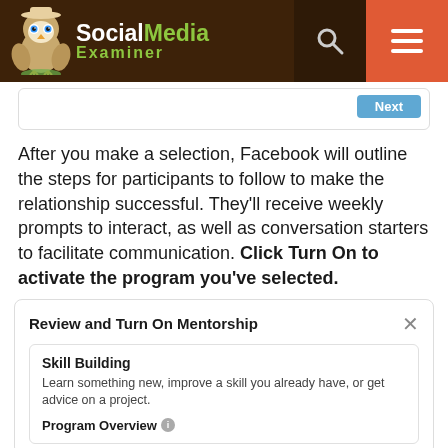Social Media Examiner
[Figure (screenshot): Next button in a rounded box with light border]
After you make a selection, Facebook will outline the steps for participants to follow to make the relationship successful. They'll receive weekly prompts to interact, as well as conversation starters to facilitate communication. Click Turn On to activate the program you've selected.
Review and Turn On Mentorship
Skill Building
Learn something new, improve a skill you already have, or get advice on a project.
Program Overview